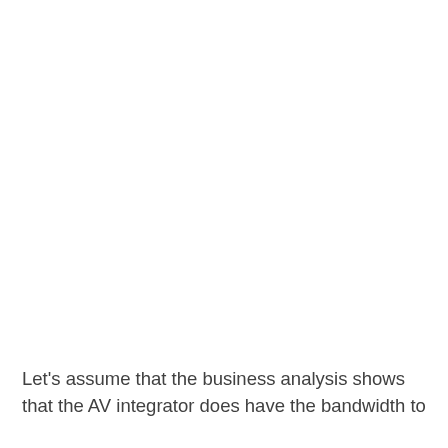Let's assume that the business analysis shows that the AV integrator does have the bandwidth to